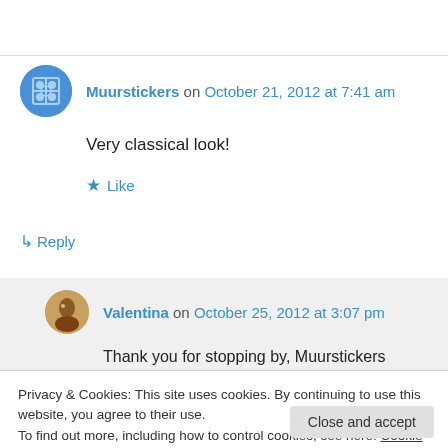Muurstickers on October 21, 2012 at 7:41 am
Very classical look!
Like
Reply
Valentina on October 25, 2012 at 3:07 pm
Thank you for stopping by, Muurstickers
Privacy & Cookies: This site uses cookies. By continuing to use this website, you agree to their use.
To find out more, including how to control cookies, see here: Cookie Policy
Close and accept
Zen and Genki on October 17, 2012 at 3:28 am